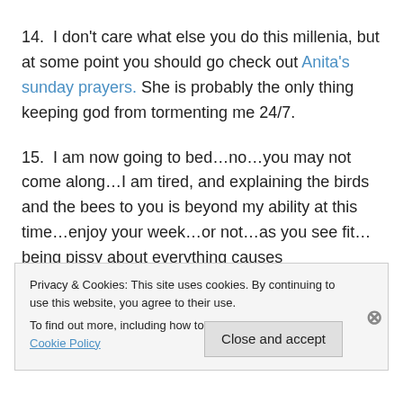14.  I don't care what else you do this millenia, but at some point you should go check out Anita's sunday prayers. She is probably the only thing keeping god from tormenting me 24/7.
15.  I am now going to bed…no…you may not come along…I am tired, and explaining the birds and the bees to you is beyond my ability at this time…enjoy your week…or not…as you see fit…being pissy about everything causes
Privacy & Cookies: This site uses cookies. By continuing to use this website, you agree to their use. To find out more, including how to control cookies, see here: Cookie Policy
Close and accept